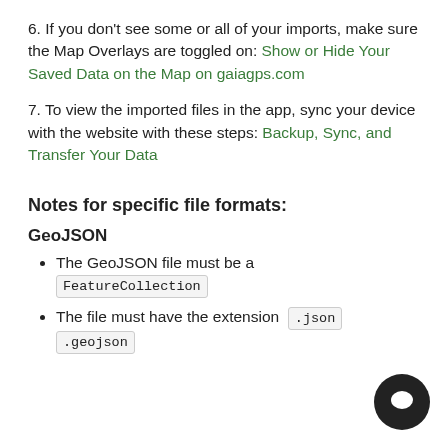6. If you don't see some or all of your imports, make sure the Map Overlays are toggled on: Show or Hide Your Saved Data on the Map on gaiagps.com
7. To view the imported files in the app, sync your device with the website with these steps: Backup, Sync, and Transfer Your Data
Notes for specific file formats:
GeoJSON
The GeoJSON file must be a FeatureCollection
The file must have the extension .json or .geojson